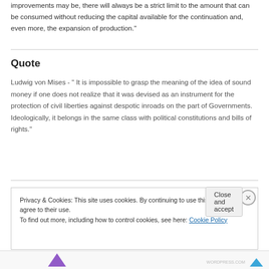improvements may be, there will always be a strict limit to the amount that can be consumed without reducing the capital available for the continuation and, even more, the expansion of production."
Quote
Ludwig von Mises - " It is impossible to grasp the meaning of the idea of sound money if one does not realize that it was devised as an instrument for the protection of civil liberties against despotic inroads on the part of Governments. Ideologically, it belongs in the same class with political constitutions and bills of rights."
Privacy & Cookies: This site uses cookies. By continuing to use this website, you agree to their use.
To find out more, including how to control cookies, see here: Cookie Policy
[Figure (screenshot): Close and accept button and cookie notice dialog with close X button]